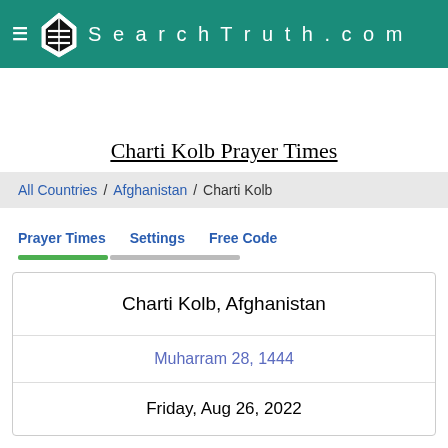SearchTruth.com
Charti Kolb Prayer Times
All Countries / Afghanistan / Charti Kolb
Prayer Times   Settings   Free Code
Charti Kolb, Afghanistan
Muharram 28, 1444
Friday, Aug 26, 2022